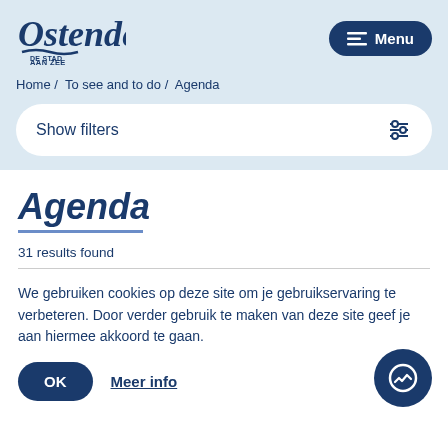[Figure (logo): Ostende city logo with text 'DE STAD AAN ZEE']
Menu
Home / To see and to do / Agenda
Show filters
Agenda
31 results found
We gebruiken cookies op deze site om je gebruikservaring te verbeteren. Door verder gebruik te maken van deze site geef je aan hiermee akkoord te gaan.
OK
Meer info